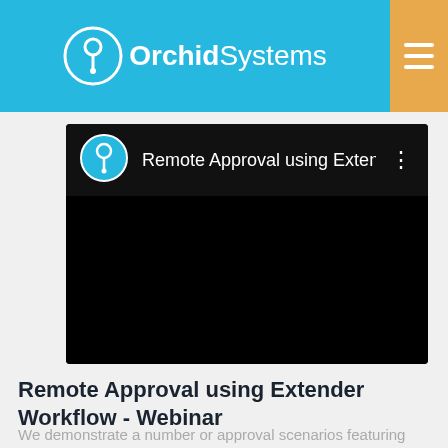Orchid Systems
[Figure (screenshot): Embedded YouTube-style video player showing 'Remote Approval using Extend...' with Orchid Systems channel icon, video title, and a three-dot menu icon on a black background]
Remote Approval using Extender Workflow - Webinar
We demonstrate a number or approval scenarios featuring Orchid's Extender Workflow and Remote Access tools.